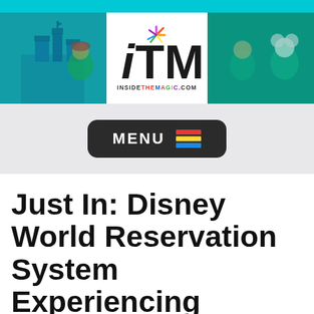InsideTheMagic.com - ITM logo header banner with Disney character imagery
[Figure (screenshot): ITM (InsideTheMagic.com) website header with cyan top bar, teal-tinted Disney castle image on left, Mario and characters on left panel, Mickey and characters on right panel, and central white ITM logo with colorful spark graphic]
[Figure (screenshot): Dark rounded rectangle MENU button with colorful horizontal lines icon on gray background]
Just In: Disney World Reservation System Experiencing Technical Difficulties